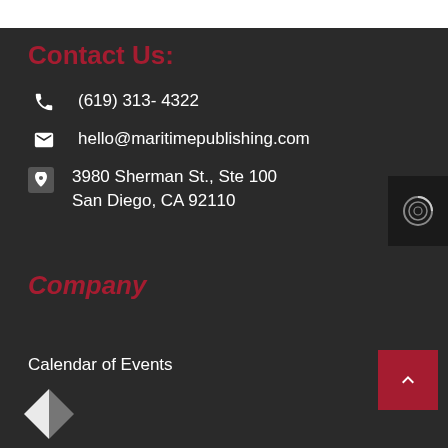Contact Us:
(619) 313- 4322
hello@maritimepublishing.com
3980 Sherman St., Ste 100
San Diego, CA 92110
Company
Calendar of Events